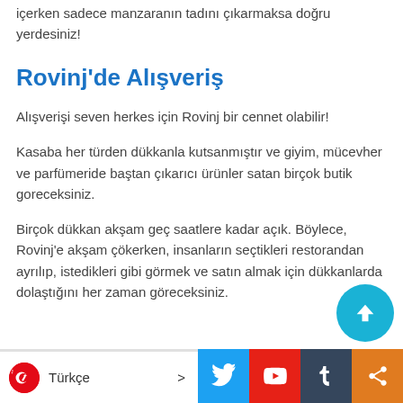içerken sadece manzaranın tadını çıkarmaksa doğru yerdesiniz!
Rovinj'de Alışveriş
Alışverişi seven herkes için Rovinj bir cennet olabilir!
Kasaba her türden dükkanla kutsanmıştır ve giyim, mücevher ve parfümeride baştan çıkarıcı ürünler satan birçok butik goreceksiniz.
Birçok dükkan akşam geç saatlere kadar açık. Böylece, Rovinj'e akşam çökerken, insanların seçtikleri restorandan ayrılıp, istedikleri gibi görmek ve satın almak için dükkanlarda dolaştığını her zaman göreceksiniz.
Türkçe >